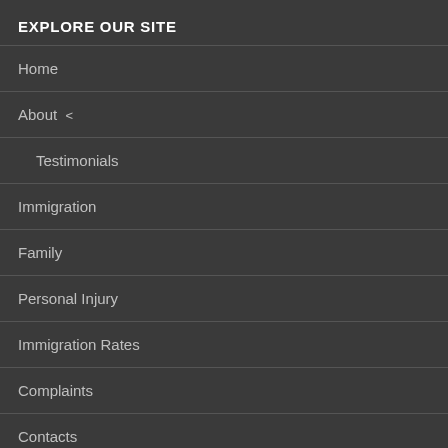EXPLORE OUR SITE
Home
About <
Testimonials
Immigration
Family
Personal Injury
Immigration Rates
Complaints
Contacts
SRA DIGITAL BADGE